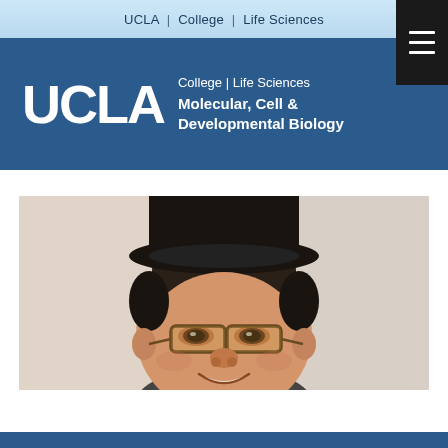UCLA | College | Life Sciences
[Figure (logo): UCLA College | Life Sciences Molecular, Cell & Developmental Biology logo with white text on blue background]
[Figure (photo): Headshot photo of a young Asian male student wearing glasses and a dark hat, smiling, with a light background]